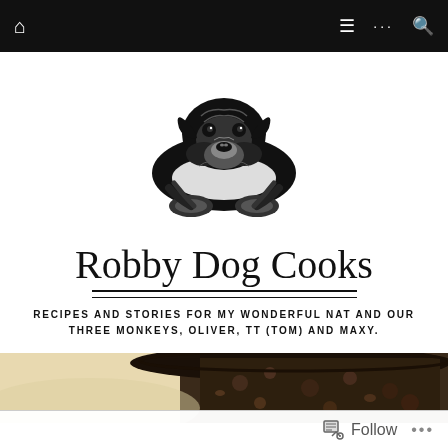Navigation bar with home icon, menu, dots, and search icons
[Figure (logo): Black and white illustration of a bulldog lying down, front paws extended, looking forward. Detailed line art style.]
Robby Dog Cooks
RECIPES AND STORIES FOR MY WONDERFUL NAT AND OUR THREE MONKEYS, OLIVER, TT (TOM) AND MAXY.
[Figure (photo): Close-up photo of a dark baked dish, likely a casserole or crumble, in a cast iron pan, with a light beige background on the left side.]
Follow  •••